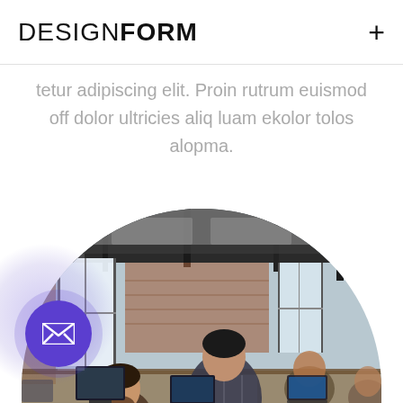DESIGNFORM +
tetur adipiscing elit. Proin rutrum euismod off dolor ultricies aliq luam ekolor tolos alopma.
[Figure (photo): Arch-shaped cropped photo of people working in a modern brick-wall office with large windows, laptops on desks. A purple email button with envelope icon overlays the bottom-left corner.]